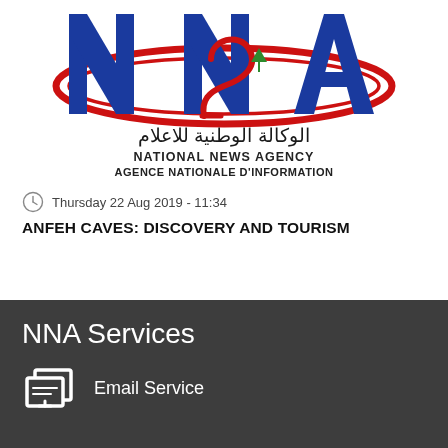[Figure (logo): NNA - National News Agency / Agence Nationale d'Information logo with Arabic text الوكالة الوطنية للاعلام, large blue NNA letters with red circular swirl and Lebanese cedar emblem]
Thursday 22 Aug 2019 - 11:34
ANFEH CAVES: DISCOVERY AND TOURISM
NNA Services
Email Service